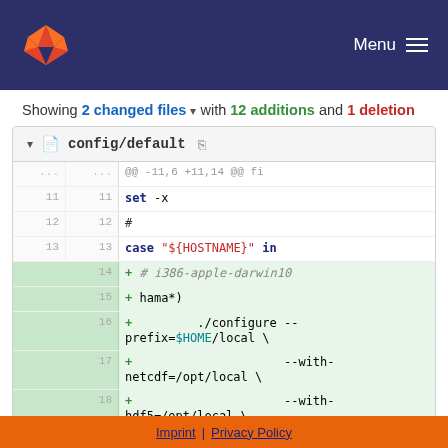GitLab — Menu
Showing 2 changed files with 12 additions and 1 deletion
config/default
| old_line | new_line | code |
| --- | --- | --- |
| ... | ... | @@ -11,6 +11,14 @@ fi |
| 11 | 11 | set -x |
| 12 | 12 | # |
| 13 | 13 | case "${HOSTNAME}" in |
|  | 14 | + # i386-apple-darwin10 |
|  | 15 | +     hama*) |
|  | 16 | +         ./configure --prefix=$HOME/local \ |
|  | 17 | +                     --with-netcdf=/opt/local \ |
|  | 18 | +                     --with-hdf5=/opt/local \ |
|  | 19 | +                     --with-szlib=/opt/local \ |
|  | 20 | + ... |
Imprint | Privacy Policy